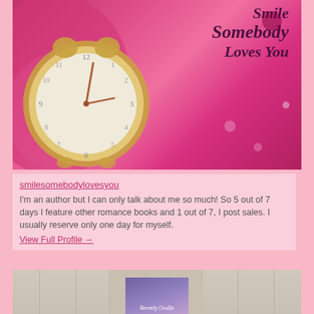[Figure (photo): Book cover image showing a vintage gold clock on a pink/magenta background with the text 'Smile Somebody Loves You' in dark cursive script]
smilesomebodylovesyou
I'm an author but I can only talk about me so much! So 5 out of 7 days I feature other romance books and 1 out of 7, I post sales. I usually reserve only one day for myself.
View Full Profile →
[Figure (photo): Partial image showing book panels/covers with a small book cover featuring Beverly Ovalle's name visible in the center]